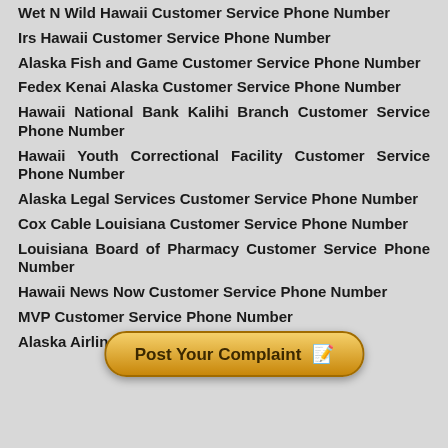Wet N Wild Hawaii Customer Service Phone Number
Irs Hawaii Customer Service Phone Number
Alaska Fish and Game Customer Service Phone Number
Fedex Kenai Alaska Customer Service Phone Number
Hawaii National Bank Kalihi Branch Customer Service Phone Number
Hawaii Youth Correctional Facility Customer Service Phone Number
Alaska Legal Services Customer Service Phone Number
Cox Cable Louisiana Customer Service Phone Number
Louisiana Board of Pharmacy Customer Service Phone Number
Hawaii News Now Customer Service Phone Number
MVP Customer Service Phone Number
[Figure (illustration): Orange/gold rounded rectangle button with text 'Post Your Complaint' and a notepad-with-pencil emoji icon]
Alaska Airlines Customer Service Phone Number